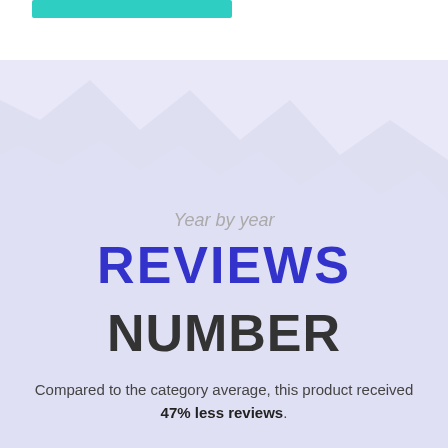[Figure (illustration): Teal/turquoise horizontal bar at top left, and a lavender/light purple mountainous background silhouette filling the page]
Year by year
REVIEWS
NUMBER
Compared to the category average, this product received 47% less reviews.
Most popular items